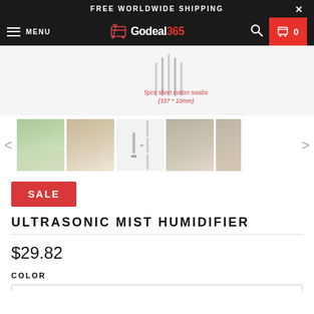FREE WORLDWIDE SHIPPING
[Figure (screenshot): Godeal365 e-commerce website navigation bar with hamburger menu, logo, search icon and cart showing 0 items]
[Figure (photo): Product images carousel showing an ultrasonic mist humidifier being used by models wearing beige and green coats, plus product detail image with cotton swabs]
5pcs short cotton swabs (337 * 10mm)
[Figure (photo): Thumbnail strip showing 5 product images: person in green jacket, person in beige coat, product + accessories flat lay, person in gray/beige coat, partial view. With left and right navigation arrows.]
SALE
ULTRASONIC MIST HUMIDIFIER
$29.82
COLOR